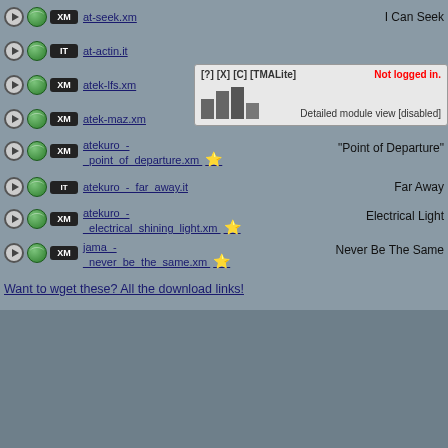at-seek.xm | I Can Seek
at-actin.it | (Not logged in - overlay visible)
[Figure (screenshot): Overlay box showing [?] [X] [C] [TMALite] links, Not logged in. text in red, a small bar chart, and 'Detailed module view [disabled]' text]
atek-lfs.xm ⭐
atek-maz.xm | The Maze Confusness
atekuro_-_point_of_departure.xm ⭐ | "Point of Departure"
atekuro_-_far_away.it | Far Away
atekuro_-_electrical_shining_light.xm ⭐ | Electrical Light
jama_-_never_be_the_same.xm ⭐ | Never Be The Same
Want to wget these? All the download links!